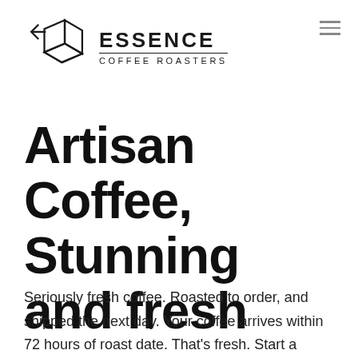[Figure (logo): Essence Coffee Roasters logo — geometric cube/box outline in black with brand name ESSENCE and subtitle COFFEE ROASTERS]
Artisan Coffee, Stunning and fresh
Seriously fresh coffee. Roasted to order, and shipped the next day. Your coffee arrives within 72 hours of roast date. That's fresh. Start a